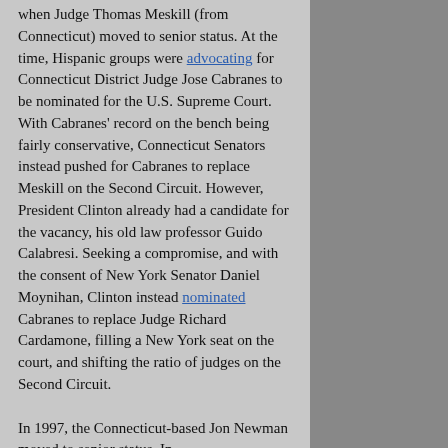when Judge Thomas Meskill (from Connecticut) moved to senior status. At the time, Hispanic groups were advocating for Connecticut District Judge Jose Cabranes to be nominated for the U.S. Supreme Court. With Cabranes' record on the bench being fairly conservative, Connecticut Senators instead pushed for Cabranes to replace Meskill on the Second Circuit. However, President Clinton already had a candidate for the vacancy, his old law professor Guido Calabresi. Seeking a compromise, and with the consent of New York Senator Daniel Moynihan, Clinton instead nominated Cabranes to replace Judge Richard Cardamone, filling a New York seat on the court, and shifting the ratio of judges on the Second Circuit.
In 1997, the Connecticut-based Jon Newman moved to senior status. In